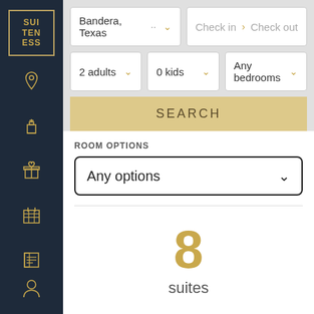[Figure (screenshot): Hotel suite booking interface with sidebar navigation, search filters for location (Bandera, Texas), check-in/check-out, adults (2), kids (0), bedrooms (Any), a SEARCH button, Room Options dropdown, and result showing 8 suites]